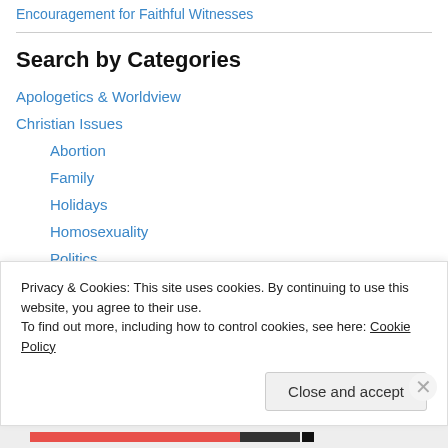Encouragement for Faithful Witnesses
Search by Categories
Apologetics & Worldview
Christian Issues
Abortion
Family
Holidays
Homosexuality
Politics
Cults & World Religions
Current Events
Privacy & Cookies: This site uses cookies. By continuing to use this website, you agree to their use. To find out more, including how to control cookies, see here: Cookie Policy
Close and accept